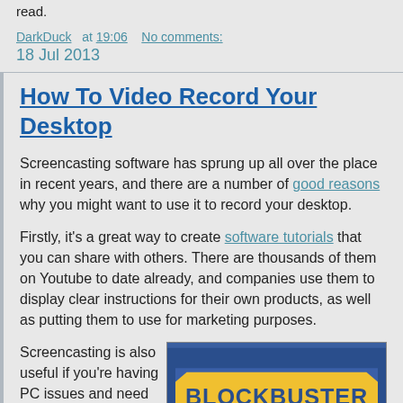read.
DarkDuck   at  19:06     No comments:
18 Jul 2013
How To Video Record Your Desktop
Screencasting software has sprung up all over the place in recent years, and there are a number of good reasons why you might want to use it to record your desktop.
Firstly, it's a great way to create software tutorials that you can share with others. There are thousands of them on Youtube to date already, and companies use them to display clear instructions for their own products, as well as putting them to use for marketing purposes.
Screencasting is also useful if you're having PC issues and need
[Figure (logo): Blockbuster logo - blue background with yellow 'BLOCKBUSTER' text in bold stylized font]